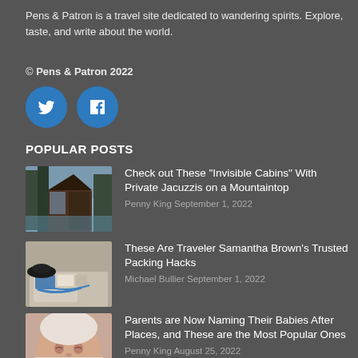Pens & Patron is a travel site dedicated to wandering spirits. Explore, taste, and write about the world.
© Pens & Patron 2022
[Figure (other): Twitter and Facebook social media icon buttons (blue circles with white bird and f icons)]
POPULAR POSTS
[Figure (photo): Photo of glass cabin/tiny house among trees near water]
Check out These “Invisible Cabins” With Private Jacuzzis on a Mountaintop
Penny King September 1, 2022
[Figure (photo): Photo of travel packing items including toiletry bag and accessories on a surface]
These Are Traveler Samantha Brown's Trusted Packing Hacks
Michael Bullier September 1, 2022
[Figure (photo): Close-up photo of a newborn baby]
Parents are Now Naming Their Babies After Places, and These are the Most Popular Ones
Penny King August 25, 2022